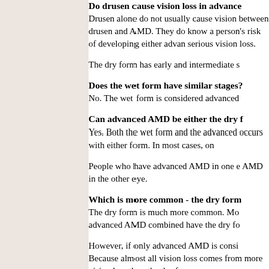Do drusen cause vision loss in advanced…
Drusen alone do not usually cause vision loss… between drusen and AMD. They do know… a person's risk of developing either advan… serious vision loss.
The dry form has early and intermediate s…
Does the wet form have similar stages?
No. The wet form is considered advanced…
Can advanced AMD be either the dry f…
Yes. Both the wet form and the advanced… occurs with either form. In most cases, on…
People who have advanced AMD in one e… AMD in the other eye.
Which is more common - the dry form…
The dry form is much more common. Mo… advanced AMD combined have the dry fo…
However, if only advanced AMD is consi… Because almost all vision loss comes fron… more vision loss than the dry form.